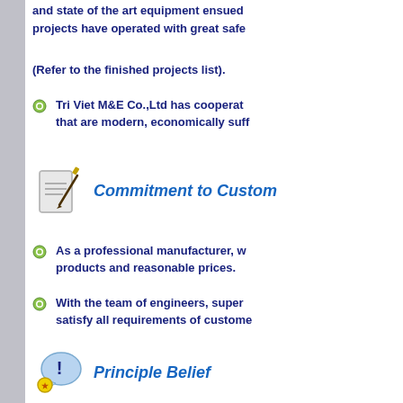and state of the art equipment ensued projects have operated with great safe
(Refer to the finished projects list).
Tri Viet M&E Co.,Ltd has cooperat... that are modern, economically suff...
Commitment to Custom
As a professional manufacturer, w... products and reasonable prices.
With the team of engineers, super... satisfy all requirements of custome...
Principle Belief